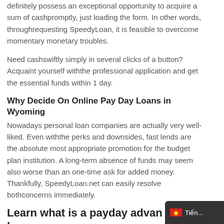definitely possess an exceptional opportunity to acquire a sum of cashpromptly, just loading the form. In other words, throughrequesting SpeedyLoan, it is feasible to overcome momentary monetary troubles.
Need cashswiftly simply in several clicks of a button? Acquaint yourself withthe professional application and get the essential funds within 1 day.
Why Decide On Online Pay Day Loans in Wyoming
Nowadays personal loan companies are actually very well-liked. Even withthe perks and downsides, fast lends are the absolute most appropriate promotion for the budget plan institution. A long-term absence of funds may seem also worse than an one-time ask for added money. Thankfully, SpeedyLoan.net can easily resolve bothconcerns immediately.
Learn what is a payday advance loan